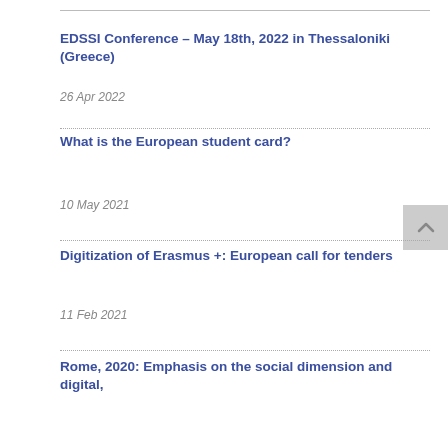EDSSI Conference – May 18th, 2022 in Thessaloniki (Greece)
26 Apr 2022
What is the European student card?
10 May 2021
Digitization of Erasmus +: European call for tenders
11 Feb 2021
Rome, 2020: Emphasis on the social dimension and digital,